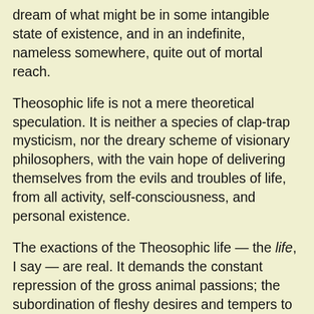dream of what might be in some intangible state of existence, and in an indefinite, nameless somewhere, quite out of mortal reach.
Theosophic life is not a mere theoretical speculation. It is neither a species of clap-trap mysticism, nor the dreary scheme of visionary philosophers, with the vain hope of delivering themselves from the evils and troubles of life, from all activity, self-consciousness, and personal existence.
The exactions of the Theosophic life — the life, I say — are real. It demands the constant repression of the gross animal passions; the subordination of fleshy desires and tempers to the highest spiritual behests, the eradication of selfishness, the fostering of broad, generous sympathies toward our fellow-man, the cheerful performance of the duty that lies nearest to us. The Theosophic life requires pure thoughts, high and holy ideals for the inner man teaches the love of right for righteousness sake; it distinguishes between good and evil by the light that shines within; and it develops the spiritual essence of man by meditation.
You see, it is an arduous, patient, uphill journey that each one must climb for himself; and only by strength of will and grace of holiness may we poor mortal pilgrims hope to attain final glory.